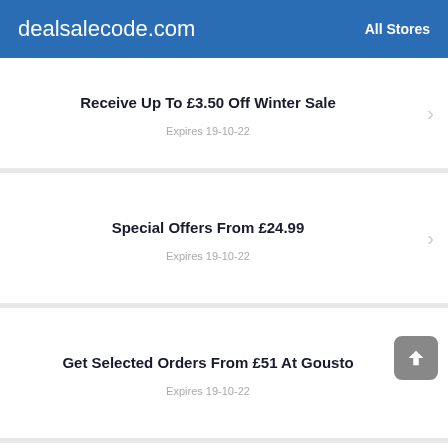dealsalecode.com   All Stores
Receive Up To £3.50 Off Winter Sale
Expires 19-10-22
Special Offers From £24.99
Expires 19-10-22
Get Selected Orders From £51 At Gousto
Expires 19-10-22